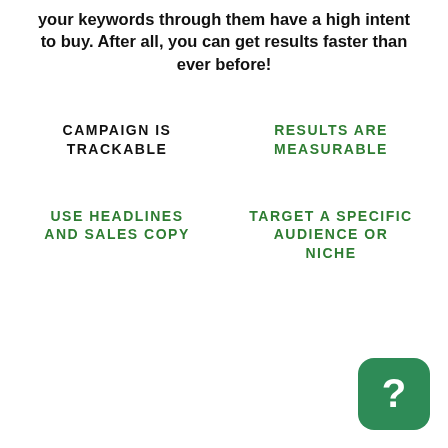your keywords through them have a high intent to buy. After all, you can get results faster than ever before!
CAMPAIGN IS TRACKABLE
RESULTS ARE MEASURABLE
USE HEADLINES AND SALES COPY
TARGET A SPECIFIC AUDIENCE OR NICHE
[Figure (illustration): Green rounded square button with a white question mark icon in the bottom-right corner]